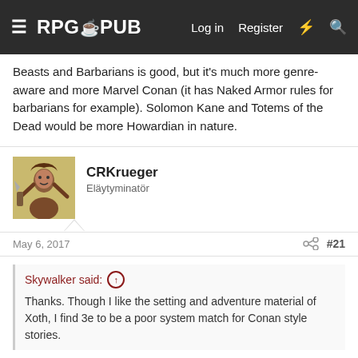RPG PUB — Log in   Register
Beasts and Barbarians is good, but it's much more genre-aware and more Marvel Conan (it has Naked Armor rules for barbarians for example). Solomon Kane and Totems of the Dead would be more Howardian in nature.
CRKrueger
Eläytyminatör
May 6, 2017    #21
Skywalker said: ↑
Thanks. Though I like the setting and adventure material of Xoth, I find 3e to be a poor system match for Conan style stories.
All the Xoth stuff comes in Legend versions now, so good to go with Mythras.